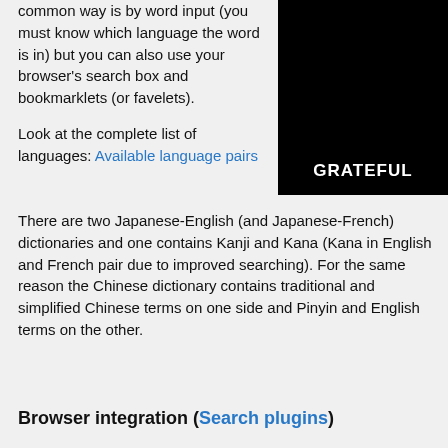common way is by word input (you must know which language the word is in) but you can also use your browser's search box and bookmarklets (or favelets).
[Figure (illustration): Black box with white bold text reading GRATEFUL at the bottom]
Look at the complete list of languages: Available language pairs
There are two Japanese-English (and Japanese-French) dictionaries and one contains Kanji and Kana (Kana in English and French pair due to improved searching). For the same reason the Chinese dictionary contains traditional and simplified Chinese terms on one side and Pinyin and English terms on the other.
Browser integration (Search plugins)